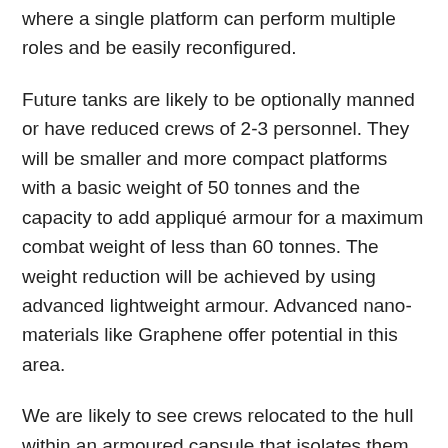where a single platform can perform multiple roles and be easily reconfigured.
Future tanks are likely to be optionally manned or have reduced crews of 2-3 personnel. They will be smaller and more compact platforms with a basic weight of 50 tonnes and the capacity to add appliqué armour for a maximum combat weight of less than 60 tonnes. The weight reduction will be achieved by using advanced lightweight armour. Advanced nano-materials like Graphene offer potential in this area.
We are likely to see crews relocated to the hull within an armoured capsule that isolates them from main gun ammunition. Gun turrets will be smaller and the main gun will be served by an